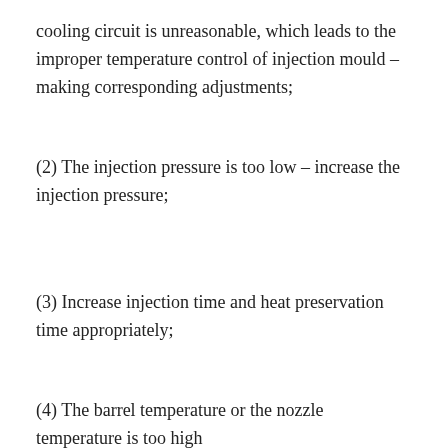cooling circuit is unreasonable, which leads to the improper temperature control of injection mould – making corresponding adjustments;
(2) The injection pressure is too low – increase the injection pressure;
(3) Increase injection time and heat preservation time appropriately;
(4) The barrel temperature or the nozzle temperature is too high